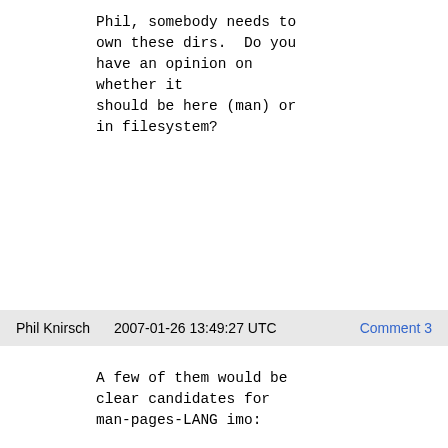Phil, somebody needs to own these dirs.  Do you have an opinion on whether it should be here (man) or in filesystem?
Phil Knirsch    2007-01-26 13:49:27 UTC    Comment 3
A few of them would be clear candidates for man-pages-LANG imo:

/usr/share/man/fr/man3: man-pages-fr-2.39-7.fc7.noarch.rpm
/usr/share/man/it/man3: man-pages-it-0.3.0-17.1.noarch.rpm
/usr/share/man/pl/man7: man-pages-pl-0.24-2.1.noarch.rpm
/usr/share/man/ru/man1: man-pages-ru-0.97-1.1.1.noarch.rpm
/usr/share/man/ru/man3: